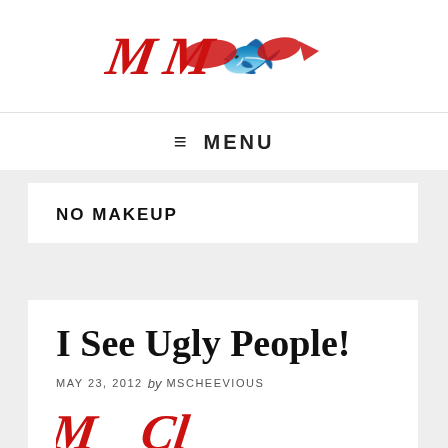[Blog logo - stylized red script text]
≡ MENU
NO MAKEUP
I See Ugly People!
MAY 23, 2012 by MSCHEEVIOUS
[Figure (logo): Stylized red script logo partially visible at bottom of article card]